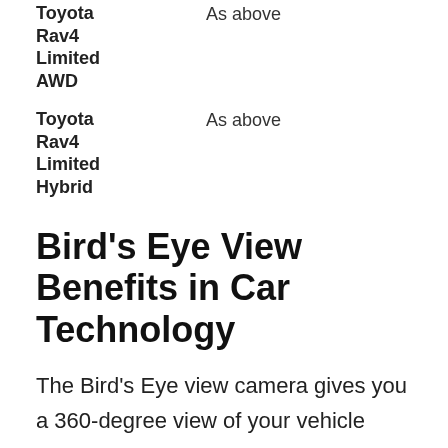| Model | Description |
| --- | --- |
| Toyota Rav4 Limited AWD | As above |
| Toyota Rav4 Limited Hybrid | As above |
Bird’s Eye View Benefits in Car Technology
The Bird’s Eye view camera gives you a 360-degree view of your vehicle when you are driving slowly or reversing. This